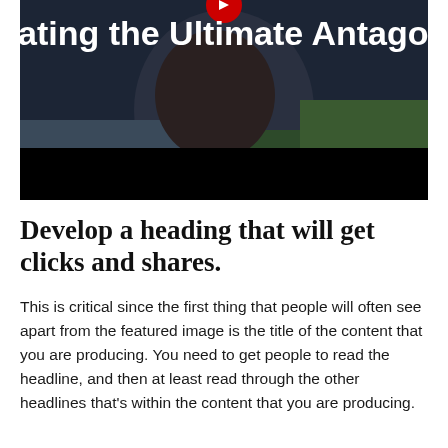[Figure (photo): A dark photo showing a person's face partially visible with text overlay reading 'ating the Ultimate Antago' in white bold font on the upper portion. The image has a dark/black bar at the bottom and a red circular element at the top center.]
Develop a heading that will get clicks and shares.
This is critical since the first thing that people will often see apart from the featured image is the title of the content that you are producing. You need to get people to read the headline, and then at least read through the other headlines that's within the content that you are producing.